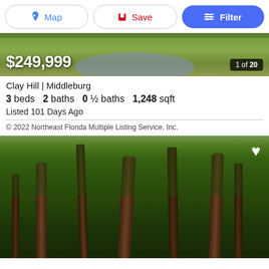Map | Save | Filter
[Figure (photo): Aerial or landscape view of property with green grass and a pond, price overlay $249,999 and photo counter 1 of 20]
$249,999
Clay Hill | Middleburg
3 beds  2 baths  0 ½ baths  1,248 sqft
Listed 101 Days Ago
© 2022 Northeast Florida Multiple Listing Service, Inc.
[Figure (photo): Photo of wooded lot with tall trees and green foliage, heart/favorite icon in top right corner]